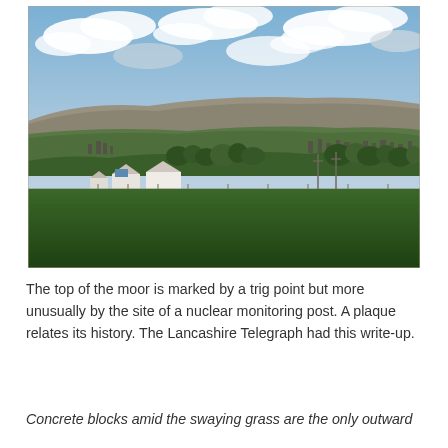[Figure (photo): Landscape photograph showing green fields and farmhouses in the foreground, a town and rolling hills in the middle distance, and a broad moorland plateau under a partly cloudy blue sky.]
The top of the moor is marked by a trig point but more unusually by the site of a nuclear monitoring post. A plaque relates its history. The Lancashire Telegraph had this write-up.
Concrete blocks amid the swaying grass are the only outward